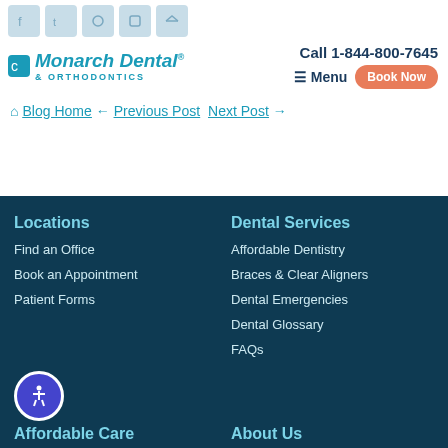[Figure (logo): Monarch Dental & Orthodontics logo with social sharing icons]
Call 1-844-800-7645  Menu  Book Now
Blog Home ← Previous Post  Next Post →
Locations
Find an Office
Book an Appointment
Patient Forms
Dental Services
Affordable Dentistry
Braces & Clear Aligners
Dental Emergencies
Dental Glossary
FAQs
Affordable Care
About Us